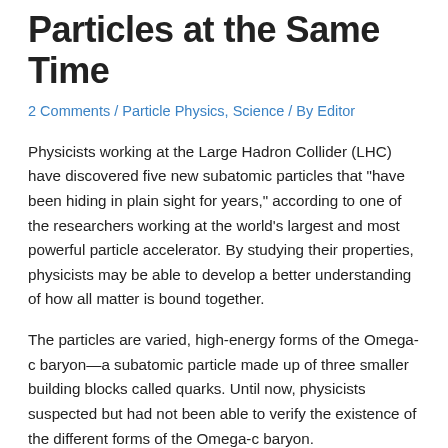Particles at the Same Time
2 Comments / Particle Physics, Science / By Editor
Physicists working at the Large Hadron Collider (LHC) have discovered five new subatomic particles that "have been hiding in plain sight for years," according to one of the researchers working at the world's largest and most powerful particle accelerator. By studying their properties, physicists may be able to develop a better understanding of how all matter is bound together.
The particles are varied, high-energy forms of the Omega-c baryon—a subatomic particle made up of three smaller building blocks called quarks. Until now, physicists suspected but had not been able to verify the existence of the different forms of the Omega-c baryon.
While the Omega-c baryon has been more mysterious, scientists know more about other baryons, the most common of which are neutrons and protons. These particles, along with their